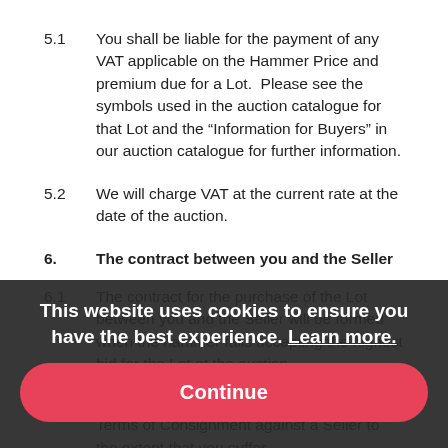5.1	You shall be liable for the payment of any VAT applicable on the Hammer Price and premium due for a Lot.  Please see the symbols used in the auction catalogue for that Lot and the “Information for Buyers” in our auction catalogue for further information.
5.2	We will charge VAT at the current rate at the date of the auction.
6.	The contract between you and the Seller
6.1	The contract for the purchase of the Lot between you and the Seller will be formed when the hammer falls accepting the highest bid for the Lot at the auction.
6.2	You may directly enforce any terms in the Terms of Consignment against a Seller to the extent that you suffer...
This website uses cookies to ensure you have the best experience. Learn more.
Continue